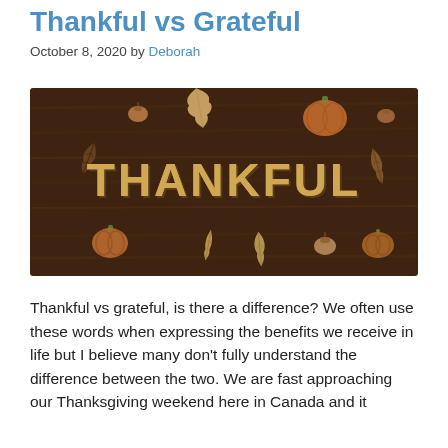Thankful vs Grateful
October 8, 2020 by Deborah
[Figure (photo): Wooden board with autumn-themed cutouts (leaves, pumpkins, acorns) surrounding the word THANKFUL spelled out in golden block letters on a dark wood background.]
Thankful vs grateful, is there a difference? We often use these words when expressing the benefits we receive in life but I believe many don't fully understand the difference between the two. We are fast approaching our Thanksgiving weekend here in Canada and it